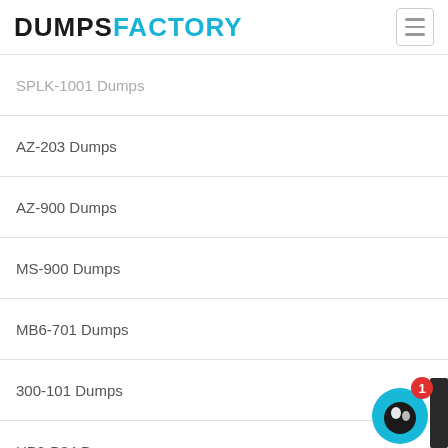DUMPSFACTORY
SPLK-1001 Dumps
AZ-203 Dumps
AZ-900 Dumps
MS-900 Dumps
MB6-701 Dumps
300-101 Dumps
HP2-B84 Dumps
DP-100 Dumps
SPLK-1002 Dumps
700-037 Dumps